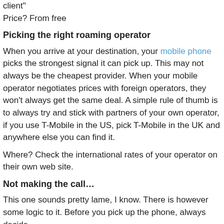client"
Price? From free
Picking the right roaming operator
When you arrive at your destination, your mobile phone picks the strongest signal it can pick up. This may not always be the cheapest provider. When your mobile operator negotiates prices with foreign operators, they won't always get the same deal. A simple rule of thumb is to always try and stick with partners of your own operator, if you use T-Mobile in the US, pick T-Mobile in the UK and anywhere else you can find it.
Where? Check the international rates of your operator on their own web site.
Not making the call…
This one sounds pretty lame, I know. There is however some logic to it. Before you pick up the phone, always decide